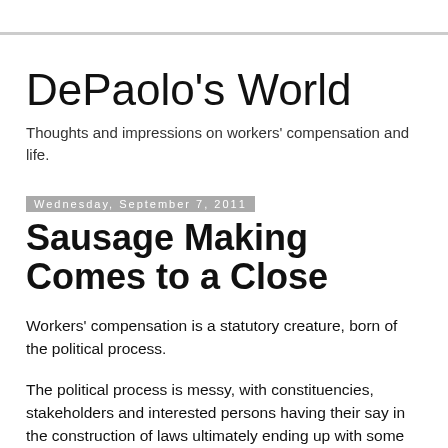DePaolo's World
Thoughts and impressions on workers' compensation and life.
Wednesday, September 7, 2011
Sausage Making Comes to a Close
Workers' compensation is a statutory creature, born of the political process.
The political process is messy, with constituencies, stakeholders and interested persons having their say in the construction of laws ultimately ending up with some compromise, or bullying, into positions that define the next